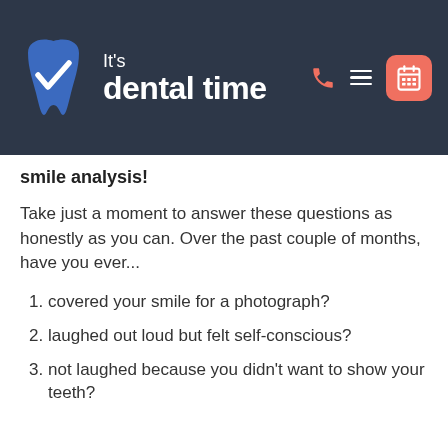[Figure (logo): It's dental time logo with tooth icon, phone icon, hamburger menu, and calendar button on dark navy header background]
smile analysis!
Take just a moment to answer these questions as honestly as you can. Over the past couple of months, have you ever...
covered your smile for a photograph?
laughed out loud but felt self-conscious?
not laughed because you didn't want to show your teeth?